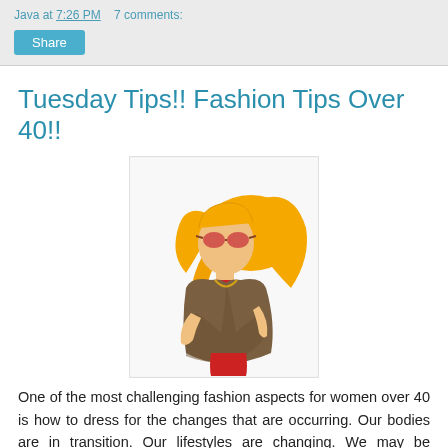Java at 7:26 PM    7 comments:
Tuesday Tips!! Fashion Tips Over 40!!
[Figure (illustration): Cartoon illustration of a stylish woman with long blonde hair wearing sunglasses, a brown wrap top, and red skirt, posed confidently]
One of the most challenging fashion aspects for women over 40 is how to dress for the changes that are occurring.  Our bodies are in transition. Our lifestyles are changing. We may be becoming empty nesters, divorcing, starting new jobs.  As your body is changing, so must your clothes.  You have to